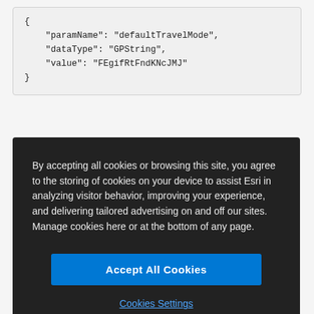{
    "paramName": "defaultTravelMode",
    "dataType": "GPString",
    "value": "FEgifRtFndKNcJMJ"
}
By accepting all cookies or browsing this site, you agree to the storing of cookies on your device to assist Esri in analyzing visitor behavior, improving your experience, and delivering tailored advertising on and off our sites. Manage cookies here or at the bottom of any page.
Accept All Cookies
Cookies Settings